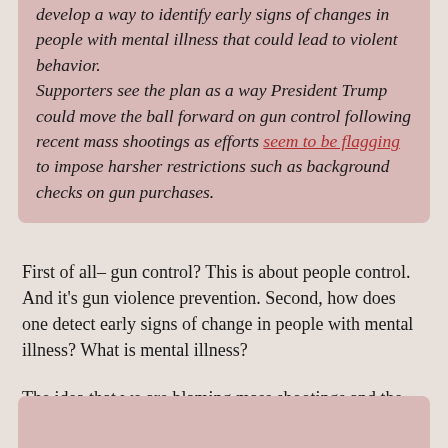develop a way to identify early signs of changes in people with mental illness that could lead to violent behavior. Supporters see the plan as a way President Trump could move the ball forward on gun control following recent mass shootings as efforts seem to be flagging to impose harsher restrictions such as background checks on gun purchases.
First of all– gun control? This is about people control. And it's gun violence prevention. Second, how does one detect early signs of change in people with mental illness? What is mental illness?
The idea that we are blaming mass shootings and the daily gun violence carnage on mental illness has been debunked over and over again. Here is just one article about that myth: